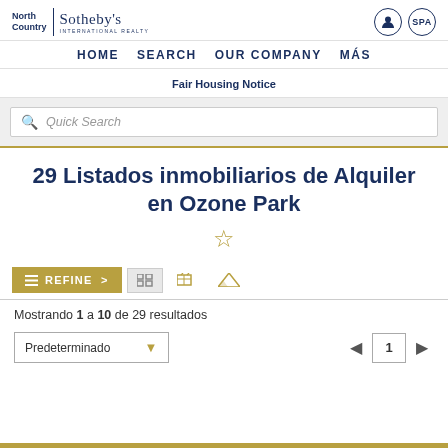North Country | Sotheby's International Realty — HOME  SEARCH  OUR COMPANY  MÁS
Fair Housing Notice
Quick Search
29 Listados inmobiliarios de Alquiler en Ozone Park
☆
≡ REFINE >
Mostrando 1 a 10 de 29 resultados
Predeterminado  ◄  1  ►